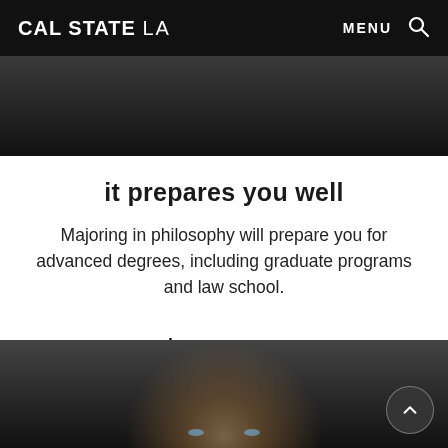CAL STATE LA | MENU
[Figure (photo): Dark photo strip at top, partial view of a dark background]
it prepares you well
Majoring in philosophy will prepare you for advanced degrees, including graduate programs and law school.
learn more >
[Figure (photo): Close-up portrait photo of a person with blonde hair and blue eyes, partially visible]